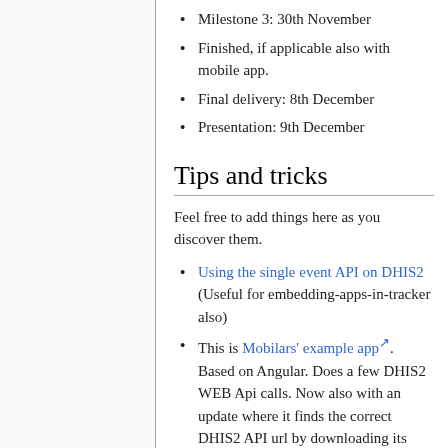Milestone 3: 30th November
Finished, if applicable also with mobile app.
Final delivery: 8th December
Presentation: 9th December
Tips and tricks
Feel free to add things here as you discover them.
Using the single event API on DHIS2 (Useful for embedding-apps-in-tracker also)
This is Mobilars' example app. Based on Angular. Does a few DHIS2 WEB Api calls. Now also with an update where it finds the correct DHIS2 API url by downloading its own manifest-file (the manifest file is